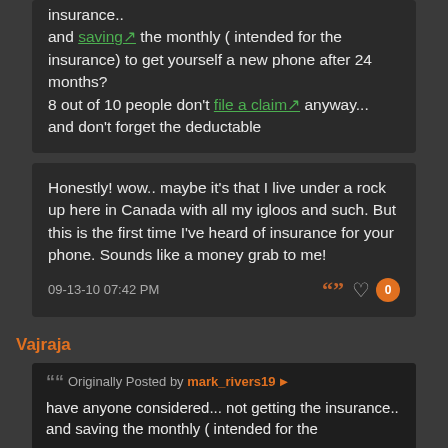insurance.. and saving the monthly ( intended for the insurance) to get yourself a new phone after 24 months? 8 out of 10 people don't file a claim anyway... and don't forget the deductable
Honestly! wow.. maybe it's that I live under a rock up here in Canada with all my igloos and such. But this is the first time I've heard of insurance for your phone. Sounds like a money grab to me!
09-13-10 07:42 PM
Vajraja
Originally Posted by mark_rivers19
have anyone considered... not getting the insurance.. and saving the monthly ( intended for the